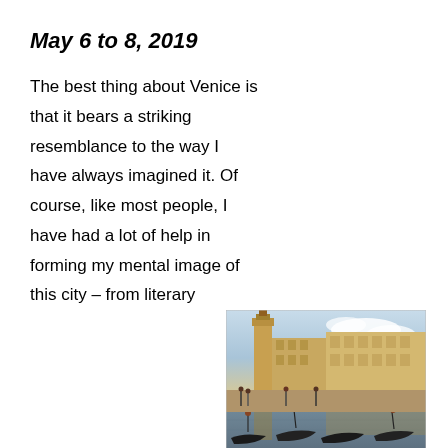May 6 to 8, 2019
The best thing about Venice is that it bears a striking resemblance to the way I have always imagined it. Of course, like most people, I have had a lot of help in forming my mental image of this city – from literary and dramatic sources (e.g., Mann's Death in Venice, various iterations of Shakespeare's Merchant of Venice), through paintings by Monet, Manet, Kinkade and especially Giovanni Antonio Canal (aka Canaletto. With a
[Figure (photo): Canaletto's painting Veduto del Palazzo Ducale showing Venice's Grand Canal with gondolas and the Doge's Palace]
Canaletto's Veduto del Palazzo Ducale